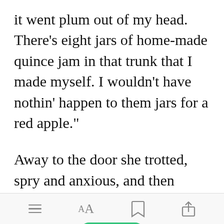it went plum out of my head. There's eight jars of home-made quince jam in that trunk that I made myself. I wouldn't have nothin' happen to them jars for a red apple."
Away to the door she trotted, spry and anxious, and then Calliope Catesby spoke out to Buck Patterson:
[Figure (other): Green 'Open in app' button overlay on text]
Toolbar with menu, font size, bookmark, and share icons